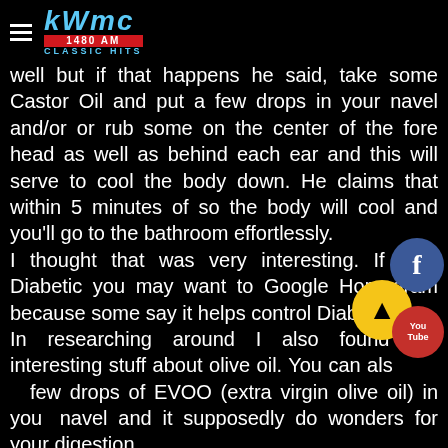KWMC 1480 AM CLASSIC HITS
well but if that happens he said, take some Castor Oil and put a few drops in your navel and/or or rub some on the center of the fore head as well as behind each ear and this will serve to cool the body down. He claims that within 5 minutes of so the body will cool and you'll go to the bathroom effortlessly.
I thought that was very interesting. If your Diabetic you may want to Google Horsegram because some say it helps control Diabetes?
In researching around I also found out interesting stuff about olive oil. You can also put a few drops of EVOO (extra virgin olive oil) in your navel and it supposedly do wonders for your digestion and...